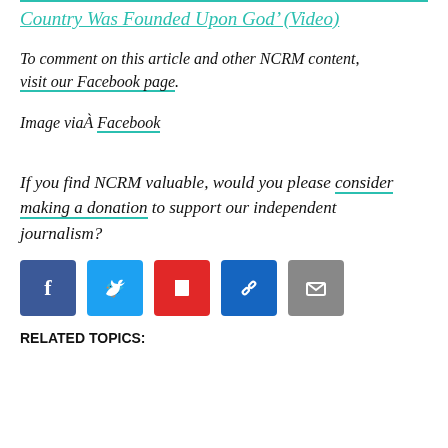Country Was Founded Upon God' (Video)
To comment on this article and other NCRM content, visit our Facebook page.
Image viaÂ Facebook
If you find NCRM valuable, would you please consider making a donation to support our independent journalism?
[Figure (other): Social sharing buttons: Facebook, Twitter, Flipboard, link, email]
RELATED TOPICS: